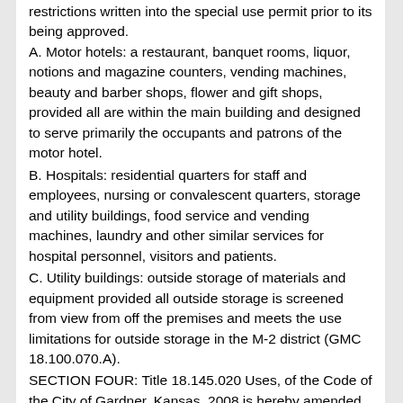restrictions written into the special use permit prior to its being approved.
A. Motor hotels: a restaurant, banquet rooms, liquor, notions and magazine counters, vending machines, beauty and barber shops, flower and gift shops, provided all are within the main building and designed to serve primarily the occupants and patrons of the motor hotel.
B. Hospitals: residential quarters for staff and employees, nursing or convalescent quarters, storage and utility buildings, food service and vending machines, laundry and other similar services for hospital personnel, visitors and patients.
C. Utility buildings: outside storage of materials and equipment provided all outside storage is screened from view from off the premises and meets the use limitations for outside storage in the M-2 district (GMC 18.100.070.A).
SECTION FOUR: Title 18.145.020 Uses, of the Code of the City of Gardner, Kansas, 2008 is hereby amended to